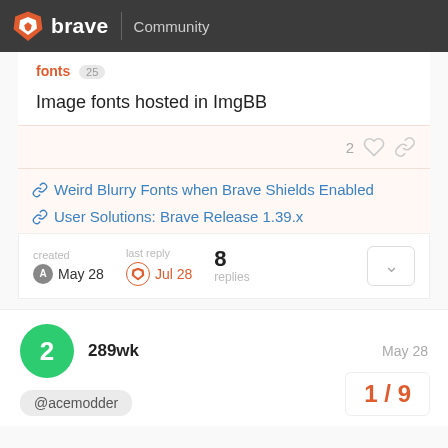brave Community
fonts 25
Image fonts hosted in ImgBB
2 likes, link
Weird Blurry Fonts when Brave Shields Enabled
User Solutions: Brave Release 1.39.x
created May 28   last reply Jul 28   8 replies
289wk   May 28
@acemodder
1 / 9